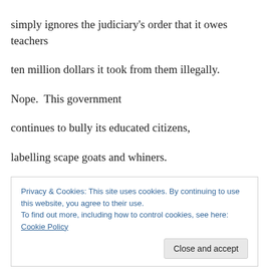simply ignores the judiciary's order that it owes teachers
ten million dollars it took from them illegally.
Nope.  This government
continues to bully its educated citizens,
labelling scape goats and whiners.
Setting its propaganda machine in motion.
Privacy & Cookies: This site uses cookies. By continuing to use this website, you agree to their use.
To find out more, including how to control cookies, see here: Cookie Policy
Close and accept